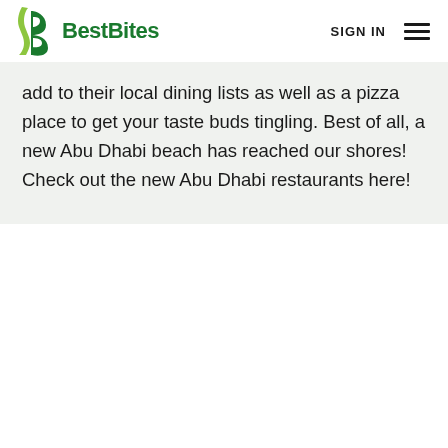BestBites | SIGN IN
add to their local dining lists as well as a pizza place to get your taste buds tingling. Best of all, a new Abu Dhabi beach has reached our shores! Check out the new Abu Dhabi restaurants here!